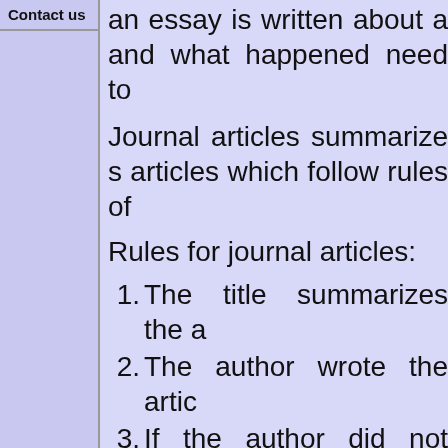Contact us
an essay is written about a and what happened need to
Journal articles summarize s articles which follow rules of
Rules for journal articles:
1. The title summarizes the a
2. The author wrote the artic
3. If the author did not write information and compiled in the acknowledgments, article.
4. All references need to overseeing the project. If reason for only having the
5. Data must come from or